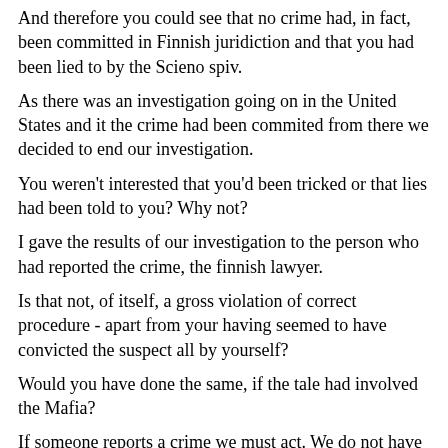And therefore you could see that no crime had, in fact, been committed in Finnish juridiction and that you had been lied to by the Scieno spiv.
As there was an investigation going on in the United States and it the crime had been commited from there we decided to end our investigation.
You weren't interested that you'd been tricked or that lies had been told to you? Why not?
I gave the results of our investigation to the person who had reported the crime, the finnish lawyer.
Is that not, of itself, a gross violation of correct procedure - apart from your having seemed to have convicted the suspect all by yourself?
Would you have done the same, if the tale had involved the Mafia?
If someone reports a crime we must act. We do not have the wright to refuse an investigation if there are reasons to believe, that a crime has been committed, if we did we would end up in jail.
So, what are you doing about the way that the Finnish police were tricked, cheated and conned? Or do you imagine that laying false